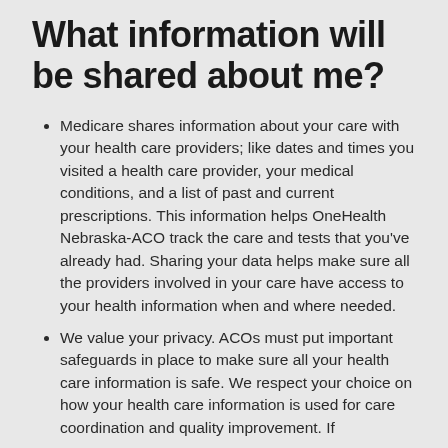What information will be shared about me?
Medicare shares information about your care with your health care providers; like dates and times you visited a health care provider, your medical conditions, and a list of past and current prescriptions. This information helps OneHealth Nebraska-ACO track the care and tests that you've already had. Sharing your data helps make sure all the providers involved in your care have access to your health information when and where needed.
We value your privacy. ACOs must put important safeguards in place to make sure all your health care information is safe. We respect your choice on how your health care information is used for care coordination and quality improvement. If